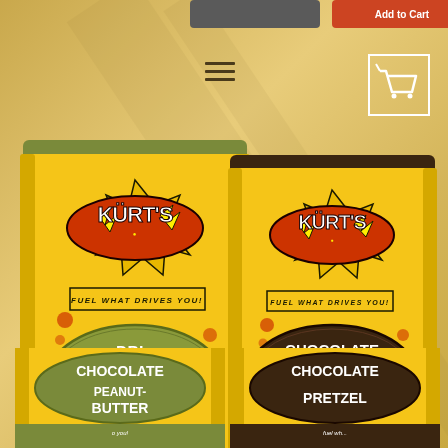[Figure (screenshot): E-commerce website screenshot showing Kurt's energy bar products on a golden/yellow background. Products shown include: DBL-Chocolate Oat Extreme, Chocolate Java Buzzz, Chocolate Peanutbutter (partially visible), and Chocolate Pretzel (partially visible). Each bar has a bright yellow comic-book style packaging with the Kurt's logo and tagline 'Fuel What Drives You'. Navigation menu icon (hamburger) and shopping cart icon are visible at the top.]